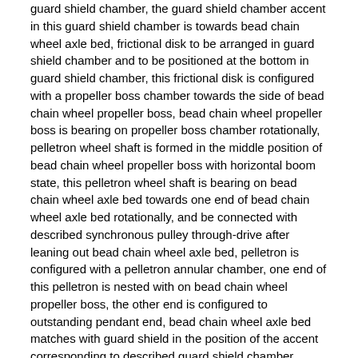guard shield chamber, the guard shield chamber accent in this guard shield chamber is towards bead chain wheel axle bed, frictional disk to be arranged in guard shield chamber and to be positioned at the bottom in guard shield chamber, this frictional disk is configured with a propeller boss chamber towards the side of bead chain wheel propeller boss, bead chain wheel propeller boss is bearing on propeller boss chamber rotationally, pelletron wheel shaft is formed in the middle position of bead chain wheel propeller boss with horizontal boom state, this pelletron wheel shaft is bearing on bead chain wheel axle bed towards one end of bead chain wheel axle bed rotationally, and be connected with described synchronous pulley through-drive after leaning out bead chain wheel axle bed, pelletron is configured with a pelletron annular chamber, one end of this pelletron is nested with on bead chain wheel propeller boss, the other end is configured to outstanding pendant end, bead chain wheel axle bed matches with guard shield in the position of the accent corresponding to described guard shield chamber.
In a specific embodiment of the present utility model, described lid offers a lid Timing Belt wheel shaft support